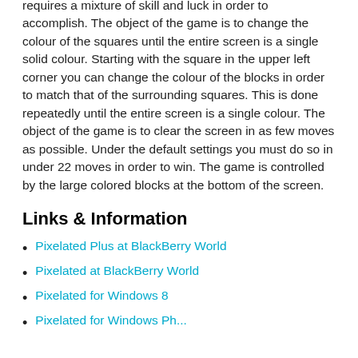requires a mixture of skill and luck in order to accomplish. The object of the game is to change the colour of the squares until the entire screen is a single solid colour. Starting with the square in the upper left corner you can change the colour of the blocks in order to match that of the surrounding squares. This is done repeatedly until the entire screen is a single colour. The object of the game is to clear the screen in as few moves as possible. Under the default settings you must do so in under 22 moves in order to win. The game is controlled by the large colored blocks at the bottom of the screen.
Links & Information
Pixelated Plus at BlackBerry World
Pixelated at BlackBerry World
Pixelated for Windows 8
Pixelated for Windows Ph...